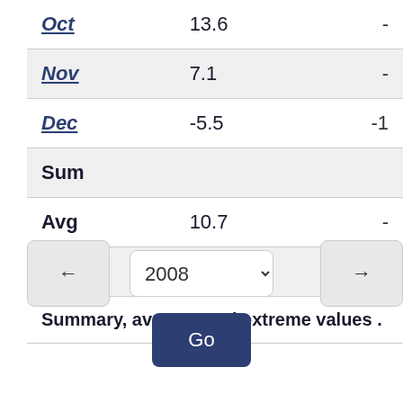| Month | Value | Extreme |
| --- | --- | --- |
| Oct | 13.6 | - |
| Nov | 7.1 | - |
| Dec | -5.5 | -1 |
| Sum |  |  |
| Avg | 10.7 | - |
| Xtrm |  |  |
| Summary, average and extreme values |  |  |